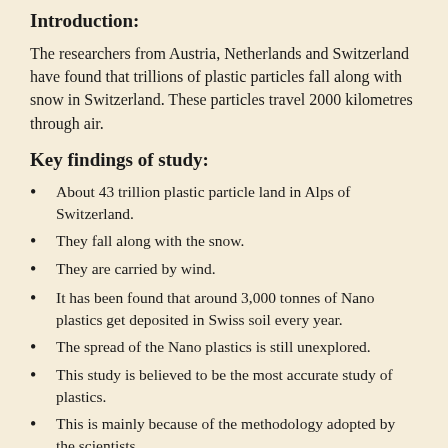Introduction:
The researchers from Austria, Netherlands and Switzerland have found that trillions of plastic particles fall along with snow in Switzerland. These particles travel 2000 kilometres through air.
Key findings of study:
About 43 trillion plastic particle land in Alps of Switzerland.
They fall along with the snow.
They are carried by wind.
It has been found that around 3,000 tonnes of Nano plastics get deposited in Swiss soil every year.
The spread of the Nano plastics is still unexplored.
This study is believed to be the most accurate study of plastics.
This is mainly because of the methodology adopted by the scientists.